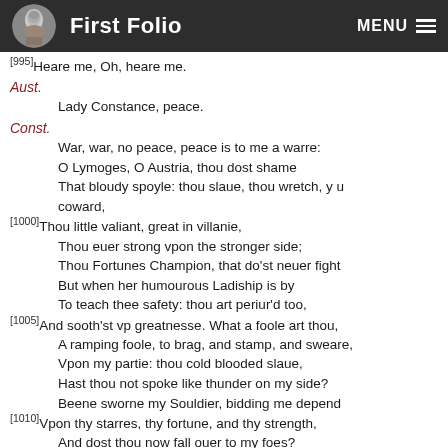First Folio  MENU
[995] Heare me, Oh, heare me.
Aust.
Lady Constance, peace.
Const.
War, war, no peace, peace is to me a warre:
O Lymoges, O Austria, thou dost shame
That bloudy spoyle: thou slaue, thou wretch, y u coward,
[1000] Thou little valiant, great in villanie,
Thou euer strong vpon the stronger side;
Thou Fortunes Champion, that do'st neuer fight
But when her humourous Ladiship is by
To teach thee safety: thou art periur'd too,
[1005] And sooth'st vp greatnesse. What a foole art thou,
A ramping foole, to brag, and stamp, and sweare,
Vpon my partie: thou cold blooded slaue,
Hast thou not spoke like thunder on my side?
Beene sworne my Souldier, bidding me depend
[1010] Vpon thy starres, thy fortune, and thy strength,
And dost thou now fall ouer to my foes?
Thou weare a Lyons hide, doff it for shame,
And hang a Calues skin on those recreant limbes.
Aus.